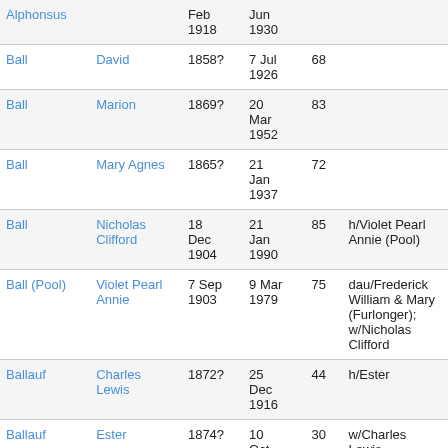| Surname | Given | Born | Died | Age | Notes |
| --- | --- | --- | --- | --- | --- |
| Alphonsus |  | Feb 1918 | Jun 1930 |  |  |
| Ball | David | 1858? | 7 Jul 1926 | 68 |  |
| Ball | Marion | 1869? | 20 Mar 1952 | 83 |  |
| Ball | Mary Agnes | 1865? | 21 Jan 1937 | 72 |  |
| Ball | Nicholas Clifford | 18 Dec 1904 | 21 Jan 1990 | 85 | h/Violet Pearl Annie (Pool) |
| Ball (Pool) | Violet Pearl Annie | 7 Sep 1903 | 9 Mar 1979 | 75 | dau/Frederick William & Mary (Furlonger); w/Nicholas Clifford |
| Ballauf | Charles Lewis | 1872? | 25 Dec 1916 | 44 | h/Ester |
| Ballauf | Ester | 1874? | 10 Oct | 30 | w/Charles Lewis |